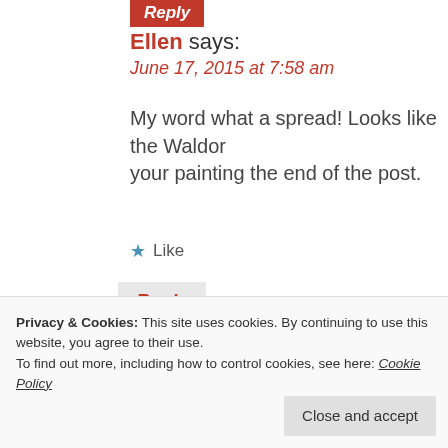Reply
Ellen says:
June 17, 2015 at 7:58 am
My word what a spread! Looks like the Waldor your painting the end of the post.
Like
Reply
the Painted Apron says:
June 18, 2015 at 8:45 am
Thanks Ellen, that painting is one of my fave
Like
Privacy & Cookies: This site uses cookies. By continuing to use this website, you agree to their use.
To find out more, including how to control cookies, see here: Cookie Policy
Close and accept